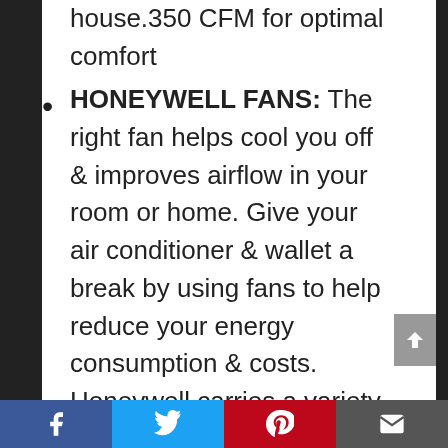house.350 CFM for optimal comfort
HONEYWELL FANS: The right fan helps cool you off & improves airflow in your room or home. Give your air conditioner & wallet a break by using fans to help reduce your energy consumption & costs. Honeywell carries a variety of fans to meet your home needs
HONEYWELL QUALITY: Help improve air circulation & energy savings in your home, bedroom or office with Honeywell fans. Compare to tower fans, oscillating fans, desk fans & similar fans Dyson, Blizzard, Turbo,